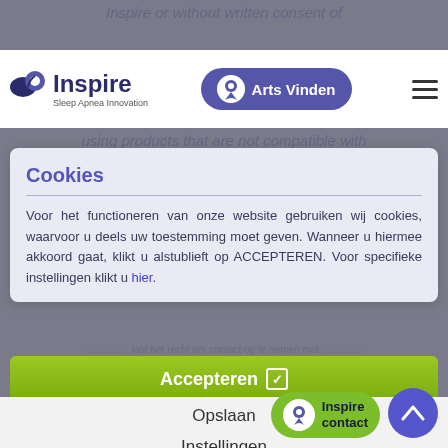Inspire or without written consent of
[Figure (logo): Inspire Sleep Apnea Innovation logo with cloud/headphone icon]
Arts Vinden
using products that are not compatible with
Cookies
Voor het functioneren van onze website gebruiken wij cookies, waarvoor u deels uw toestemming moet geven. Wanneer u hiermee akkoord gaat, klikt u alstublieft op ACCEPTEREN. Voor specifieke instellingen klikt u hier.
Accepteren ☑
Opslaan
Instellingen
specifications of Inspire (particularly operation, use and maintenance instructions).
This does not apply if the customer that the defect was not caused by o.
[Figure (logo): Inspire contact button with green background]